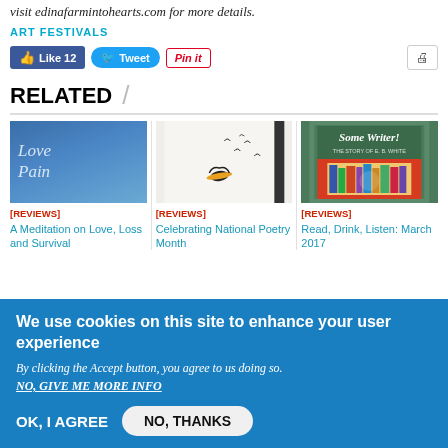visit edinafarmintohearts.com for more details.
ART FESTIVALS
[Figure (screenshot): Social sharing buttons: Like 12 (Facebook), Tweet (Twitter), Pin it (Pinterest), and a print icon button]
RELATED
[Figure (photo): Three related article cards: 1) Blue gradient image with text 'Love Pain' - [REVIEWS] A Meditation on Love, Loss and Survival; 2) Birds in flight illustration - [REVIEWS] Celebrating National Poetry Month; 3) 'Some Writer! The Story of E.B. White' book cover - [REVIEWS] Read, Drink, Listen: March 2017]
We use cookies on this site to enhance your user experience
By clicking the Accept button, you agree to us doing so.
NO, GIVE ME MORE INFO
OK, I AGREE
NO, THANKS